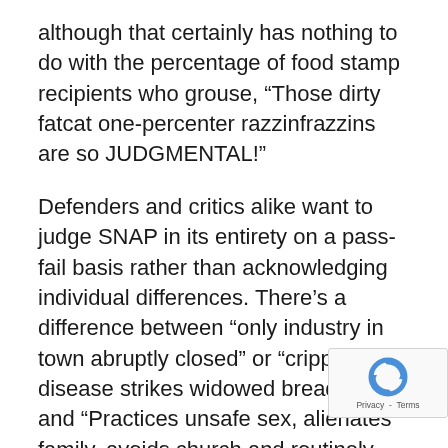although that certainly has nothing to do with the percentage of food stamp recipients who grouse, “Those dirty fatcat one-percenter razzinfrazzins are so JUDGMENTAL!”
Defenders and critics alike want to judge SNAP in its entirety on a pass-fail basis rather than acknowledging individual differences. There’s a difference between “only industry in town abruptly closed” or “crippling disease strikes widowed breadwinner” and “Practices unsafe sex, alienates family, avoids church and routinely tells boss to take this job and shove it.”
Mere dependence on food stamps is not a matter of SHAME. Swelling the ranks of SNAP via a sluggish economy and a snazzy PR campaign is not a matter